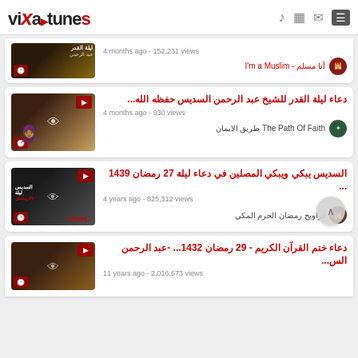vixa tunes - navigation header with music, video, mail, menu icons
[Figure (screenshot): Partial video thumbnail for first card (top cut off) with clock icon and channel info: أنا مسلم - I'm a Muslim, 4 months ago - 152,231 views]
[Figure (screenshot): Video thumbnail for دعاء ليلة القدر للشيخ عبد الرحمن السديس حفظه الله...]
دعاء ليلة القدر للشيخ عبد الرحمن السديس حفظه الله...
4 months ago - 930 views
The Path Of Faith طريق الايمان
[Figure (screenshot): Video thumbnail for السديس يبكي ويبكي المصلين في دعاء ليلة 27 رمضان 1439 ...]
السديس يبكي ويبكي المصلين في دعاء ليلة 27 رمضان 1439 ...
4 years ago - 825,312 views
تراويح رمضان الحرم المكي
[Figure (screenshot): Video thumbnail for دعاء ختم القرآن الكريم - 29 رمضان 1432... -عبد الرحمن الس...]
دعاء ختم القرآن الكريم - 29 رمضان 1432... -عبد الرحمن الس...
11 years ago - 2,016,673 views